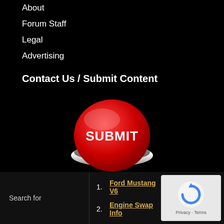About
Forum Staff
Legal
Advertising
Contact Us / Submit Content
[Figure (illustration): A large red button labeled SUBMIT with metallic chrome base, on black background]
We're always looking for new information as well as modified Ford Rangers to share with other Ford Ranger enthusiasts.
Search for
1. Ford Mustang V6
2. Engine Swap Info
[Figure (logo): reCAPTCHA logo with Privacy - Terms label]